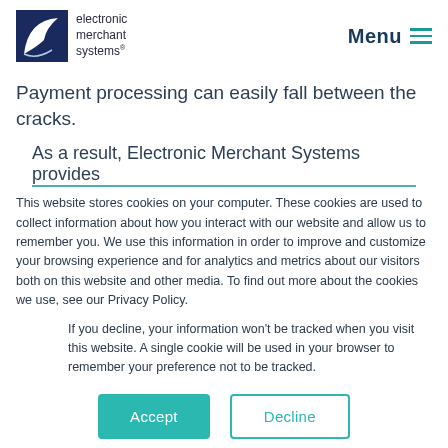electronic merchant systems | Menu
Payment processing can easily fall between the cracks.
As a result, Electronic Merchant Systems provides
This website stores cookies on your computer. These cookies are used to collect information about how you interact with our website and allow us to remember you. We use this information in order to improve and customize your browsing experience and for analytics and metrics about our visitors both on this website and other media. To find out more about the cookies we use, see our Privacy Policy.
If you decline, your information won’t be tracked when you visit this website. A single cookie will be used in your browser to remember your preference not to be tracked.
Accept | Decline